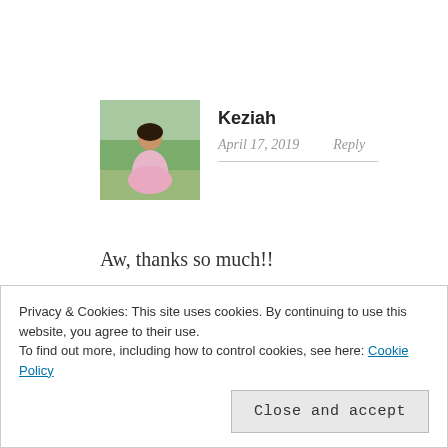[Figure (photo): Avatar photo of person in pink dress outdoors with greenery background]
Keziah
April 17, 2019    Reply
Aw, thanks so much!!
★ Like
Advertisements
[Figure (logo): Automattic logo with circular O symbol]
Build a better web and a better world.
Privacy & Cookies: This site uses cookies. By continuing to use this website, you agree to their use.
To find out more, including how to control cookies, see here: Cookie Policy
Close and accept